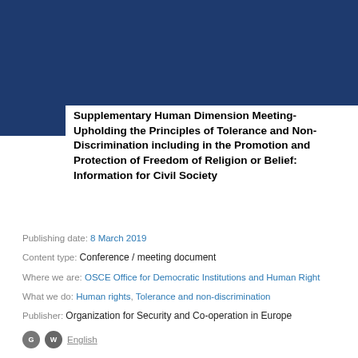[Figure (other): Dark navy blue decorative header block]
Supplementary Human Dimension Meeting- Upholding the Principles of Tolerance and Non-Discrimination including in the Promotion and Protection of Freedom of Religion or Belief: Information for Civil Society
Publishing date: 8 March 2019
Content type: Conference / meeting document
Where we are: OSCE Office for Democratic Institutions and Human Rights
What we do: Human rights, Tolerance and non-discrimination
Publisher: Organization for Security and Co-operation in Europe
English